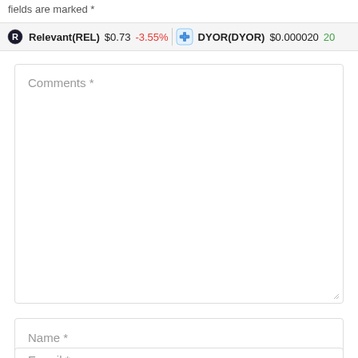fields are marked *
Relevant(REL) $0.73 -3.55% | DYOR(DYOR) $0.000020 20
Comments *
Name *
E-mail *